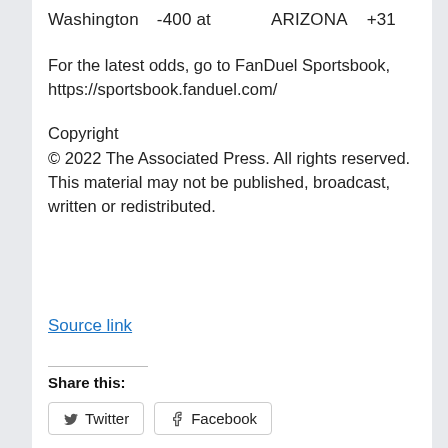Washington   -400 at   ARIZONA   +31
For the latest odds, go to FanDuel Sportsbook, https://sportsbook.fanduel.com/
Copyright
© 2022 The Associated Press. All rights reserved. This material may not be published, broadcast, written or redistributed.
Source link
Share this:
Twitter
Facebook